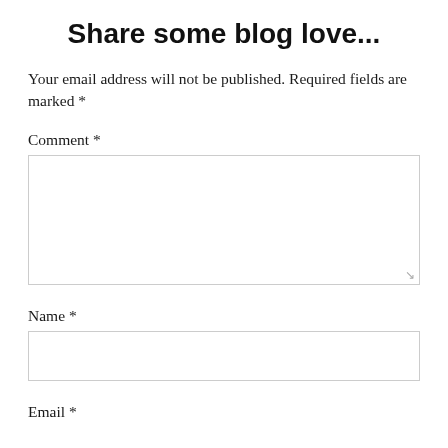Share some blog love...
Your email address will not be published. Required fields are marked *
Comment *
[Figure (other): Comment text area input box]
Name *
[Figure (other): Name single-line input box]
Email *